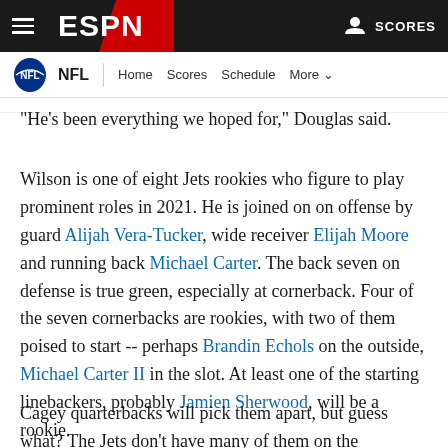ESPN NFL - Home Scores Schedule More
"He's been everything we hoped for," Douglas said.
Wilson is one of eight Jets rookies who figure to play prominent roles in 2021. He is joined on on offense by guard Alijah Vera-Tucker, wide receiver Elijah Moore and running back Michael Carter. The back seven on defense is true green, especially at cornerback. Four of the seven cornerbacks are rookies, with two of them poised to start -- perhaps Brandin Echols on the outside, Michael Carter II in the slot. At least one of the starting linebackers, probably Jamien Sherwood, will be a rookie.
Cagey quarterbacks will pick them apart, but guess what? The Jets don't have many of them on the schedule, so maybe the